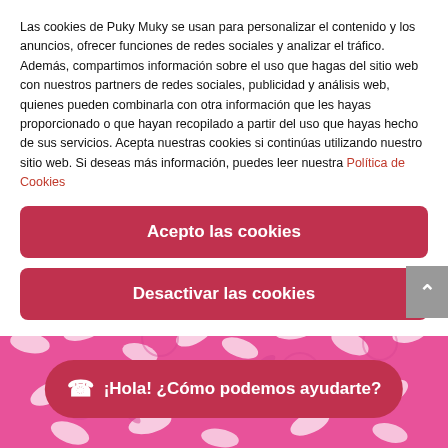Las cookies de Puky Muky se usan para personalizar el contenido y los anuncios, ofrecer funciones de redes sociales y analizar el tráfico. Además, compartimos información sobre el uso que hagas del sitio web con nuestros partners de redes sociales, publicidad y análisis web, quienes pueden combinarla con otra información que les hayas proporcionado o que hayan recopilado a partir del uso que hayas hecho de sus servicios. Acepta nuestras cookies si continúas utilizando nuestro sitio web. Si deseas más información, puedes leer nuestra Política de Cookies
Acepto las cookies
Desactivar las cookies
[Figure (photo): Pink and white floral batik pattern background]
¡Hola! ¿Cómo podemos ayudarte?